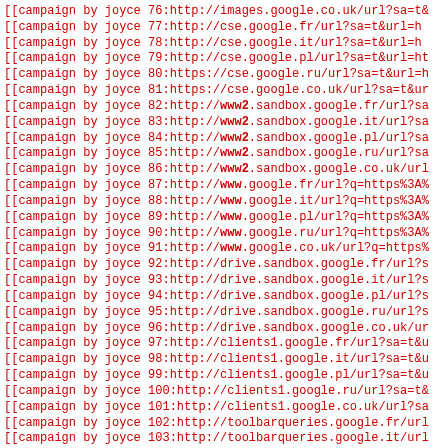[[campaign by joyce 76:http://images.google.co.uk/url?sa=t&...
[[campaign by joyce 77:http://cse.google.fr/url?sa=t&url=h...
[[campaign by joyce 78:http://cse.google.it/url?sa=t&url=h...
[[campaign by joyce 79:http://cse.google.pl/url?sa=t&url=ht...
[[campaign by joyce 80:https://cse.google.ru/url?sa=t&url=h...
[[campaign by joyce 81:https://cse.google.co.uk/url?sa=t&ur...
[[campaign by joyce 82:http://www2.sandbox.google.fr/url?sa...
[[campaign by joyce 83:http://www2.sandbox.google.it/url?sa...
[[campaign by joyce 84:http://www2.sandbox.google.pl/url?sa...
[[campaign by joyce 85:http://www2.sandbox.google.ru/url?sa...
[[campaign by joyce 86:http://www2.sandbox.google.co.uk/url...
[[campaign by joyce 87:http://www.google.fr/url?q=https%3A%...
[[campaign by joyce 88:http://www.google.it/url?q=https%3A%...
[[campaign by joyce 89:http://www.google.pl/url?q=https%3A%...
[[campaign by joyce 90:http://www.google.ru/url?q=https%3A%...
[[campaign by joyce 91:http://www.google.co.uk/url?q=https%...
[[campaign by joyce 92:http://drive.sandbox.google.fr/url?s...
[[campaign by joyce 93:http://drive.sandbox.google.it/url?s...
[[campaign by joyce 94:http://drive.sandbox.google.pl/url?s...
[[campaign by joyce 95:http://drive.sandbox.google.ru/url?s...
[[campaign by joyce 96:http://drive.sandbox.google.co.uk/ur...
[[campaign by joyce 97:http://clients1.google.fr/url?sa=t&u...
[[campaign by joyce 98:http://clients1.google.it/url?sa=t&u...
[[campaign by joyce 99:http://clients1.google.pl/url?sa=t&u...
[[campaign by joyce 100:http://clients1.google.ru/url?sa=t&...
[[campaign by joyce 101:http://clients1.google.co.uk/url?sa...
[[campaign by joyce 102:http://toolbarqueries.google.fr/url...
[[campaign by joyce 103:http://toolbarqueries.google.it/url...
[[campaign by joyce 104:http://toolbarqueries.google.pl/url...
[[campaign by joyce 105:http://toolbarqueries.google.ru/...